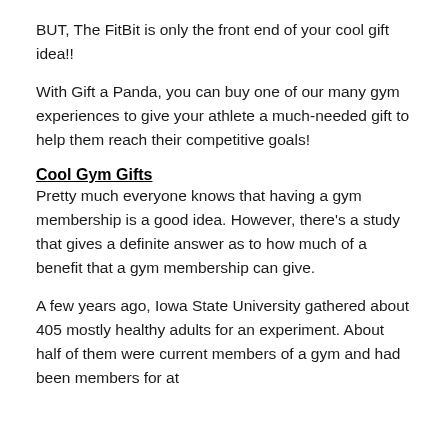BUT, The FitBit is only the front end of your cool gift idea!!
With Gift a Panda, you can buy one of our many gym experiences to give your athlete a much-needed gift to help them reach their competitive goals!
Cool Gym Gifts
Pretty much everyone knows that having a gym membership is a good idea. However, there's a study that gives a definite answer as to how much of a benefit that a gym membership can give.
A few years ago, Iowa State University gathered about 405 mostly healthy adults for an experiment. About half of them were current members of a gym and had been members for at